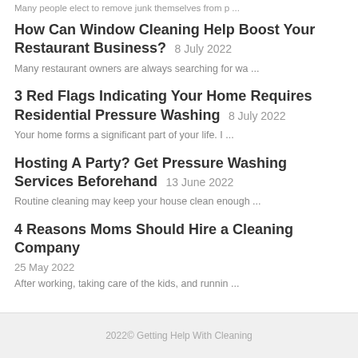Many people elect to remove junk themselves from p ...
How Can Window Cleaning Help Boost Your Restaurant Business? 8 July 2022
Many restaurant owners are always searching for wa ...
3 Red Flags Indicating Your Home Requires Residential Pressure Washing 8 July 2022
Your home forms a significant part of your life. I ...
Hosting A Party? Get Pressure Washing Services Beforehand 13 June 2022
Routine cleaning may keep your house clean enough ...
4 Reasons Moms Should Hire a Cleaning Company
25 May 2022
After working, taking care of the kids, and runnin ...
2022© Getting Help With Cleaning